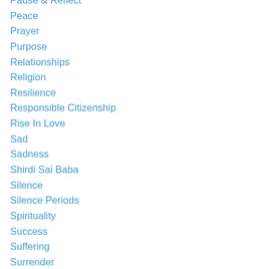Pause & Reflect
Peace
Prayer
Purpose
Relationships
Religion
Resilience
Responsible Citizenship
Rise In Love
Sad
Sadness
Shirdi Sai Baba
Silence
Silence Periods
Spirituality
Success
Suffering
Surrender
Swami Sathya Sai Baba
The Self Observation Project